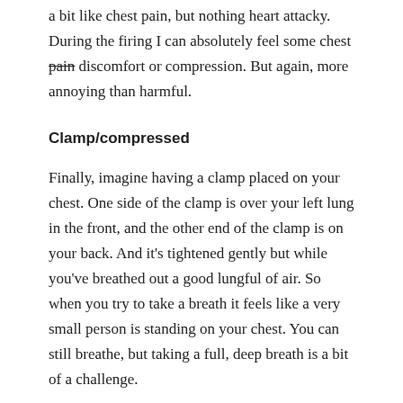a bit like chest pain, but nothing heart attacky. During the firing I can absolutely feel some chest pain discomfort or compression. But again, more annoying than harmful.
Clamp/compressed
Finally, imagine having a clamp placed on your chest. One side of the clamp is over your left lung in the front, and the other end of the clamp is on your back. And it's tightened gently but while you've breathed out a good lungful of air. So when you try to take a breath it feels like a very small person is standing on your chest. You can still breathe, but taking a full, deep breath is a bit of a challenge.